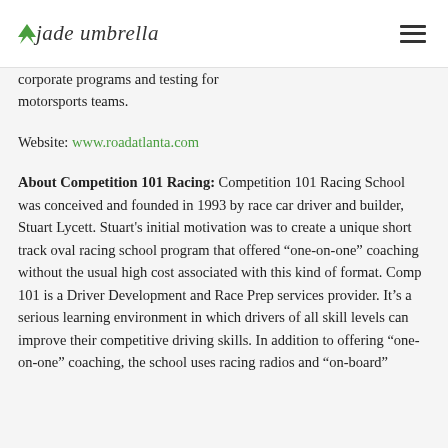Jade Umbrella
corporate programs and testing for motorsports teams.
Website: www.roadatlanta.com
About Competition 101 Racing: Competition 101 Racing School was conceived and founded in 1993 by race car driver and builder, Stuart Lycett. Stuart's initial motivation was to create a unique short track oval racing school program that offered “one-on-one” coaching without the usual high cost associated with this kind of format. Comp 101 is a Driver Development and Race Prep services provider. It’s a serious learning environment in which drivers of all skill levels can improve their competitive driving skills. In addition to offering “one-on-one” coaching, the school uses racing radios and “on-board”